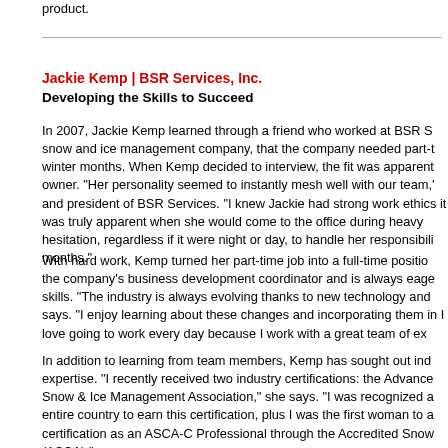product.
Jackie Kemp | BSR Services, Inc.
Developing the Skills to Succeed
In 2007, Jackie Kemp learned through a friend who worked at BSR S snow and ice management company, that the company needed part-t winter months. When Kemp decided to interview, the fit was apparent owner. “Her personality seemed to instantly mesh well with our team, and president of BSR Services. “I knew Jackie had strong work ethics it was truly apparent when she would come to the office during heavy hesitation, regardless if it were night or day, to handle her responsibili months.”
With hard work, Kemp turned her part-time job into a full-time positio the company’s business development coordinator and is always eage skills. “The industry is always evolving thanks to new technology and says. “I enjoy learning about these changes and incorporating them in I love going to work every day because I work with a great team of ex
In addition to learning from team members, Kemp has sought out ind expertise. “I recently received two industry certifications: the Advance Snow & Ice Management Association,” she says. “I was recognized a entire country to earn this certification, plus I was the first woman to a certification as an ASCA-C Professional through the Accredited Snow (ASCA).”